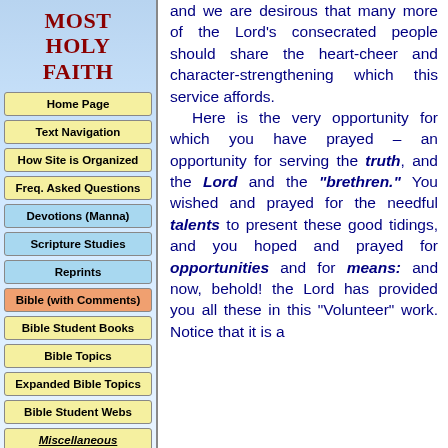MOST HOLY FAITH
Home Page
Text Navigation
How Site is Organized
Freq. Asked Questions
Devotions (Manna)
Scripture Studies
Reprints
Bible (with Comments)
Bible Student Books
Bible Topics
Expanded Bible Topics
Bible Student Webs
Miscellaneous
and we are desirous that many more of the Lord's consecrated people should share the heart-cheer and character-strengthening which this service affords.

Here is the very opportunity for which you have prayed – an opportunity for serving the truth, and the Lord and the "brethren." You wished and prayed for the needful talents to present these good tidings, and you hoped and prayed for opportunities and for means: and now, behold! the Lord has provided you all these in this "Volunteer" work. Notice that it is a